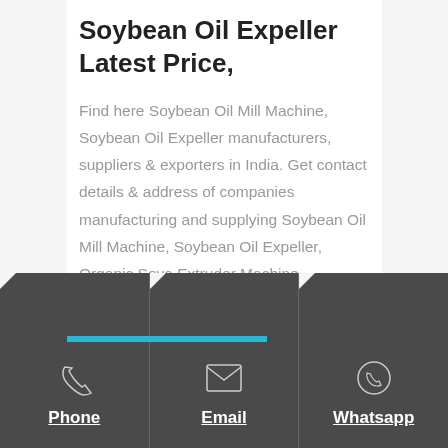Soybean Oil Expeller Latest Price,
Find here Soybean Oil Mill Machine, Soybean Oil Expeller manufacturers, suppliers & exporters in India. Get contact details & address of companies manufacturing and supplying Soybean Oil Mill Machine, Soybean Oil Expeller, Organic Soya Extruder Machine
Phone | Email | Whatsapp